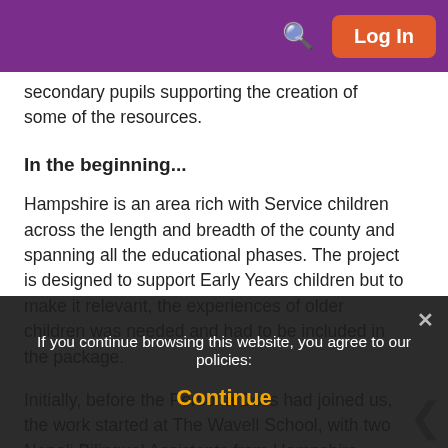Log In
secondary pupils supporting the creation of some of the resources.
In the beginning...
Hampshire is an area rich with Service children across the length and breadth of the county and spanning all the educational phases. The project is designed to support Early Years children but to make it relevant, the experiences of older children was needed and had to be included in the package.
Initially, before the Persona Dolls had joined us, the work started at The Wavell School, with two Nepali Bilingual Assistants from Hampshire Ethnic Minority and Traveller Achievement Service (EMTAS) interviewing students with backgrounds from Fiji, Nepal, Malawi and Jamaica. They shared their stories and were open and honest about their experiences including the difficulties of being away from familiar places and having a parent in the forces. They spoke of homesickness and missing friends and family, the foods they missed, aspects of their lives that had changed, some of this includes worrying about
If you continue browsing this website, you agree to our policies:
Continue